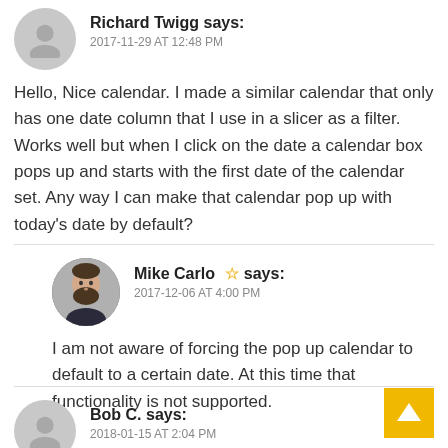Richard Twigg says: 2017-11-29 AT 12:48 PM
Hello, Nice calendar. I made a similar calendar that only has one date column that I use in a slicer as a filter. Works well but when I click on the date a calendar box pops up and starts with the first date of the calendar set. Any way I can make that calendar pop up with today’s date by default?
Mike Carlo says: 2017-12-06 AT 4:00 PM
I am not aware of forcing the pop up calendar to default to a certain date. At this time that functionality is not supported.
Bob C. says: 2018-01-15 AT 2:04 PM